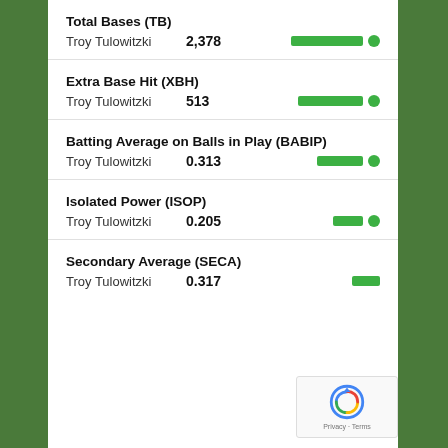Total Bases (TB)
Troy Tulowitzki   2,378
Extra Base Hit (XBH)
Troy Tulowitzki   513
Batting Average on Balls in Play (BABIP)
Troy Tulowitzki   0.313
Isolated Power (ISOP)
Troy Tulowitzki   0.205
Secondary Average (SECA)
Troy Tulowitzki   0.317